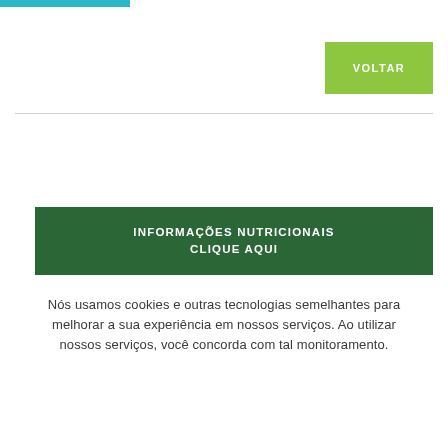VOLTAR
INFORMAÇÕES NUTRICIONAIS CLIQUE AQUI
Nós usamos cookies e outras tecnologias semelhantes para melhorar a sua experiência em nossos serviços. Ao utilizar nossos serviços, você concorda com tal monitoramento.